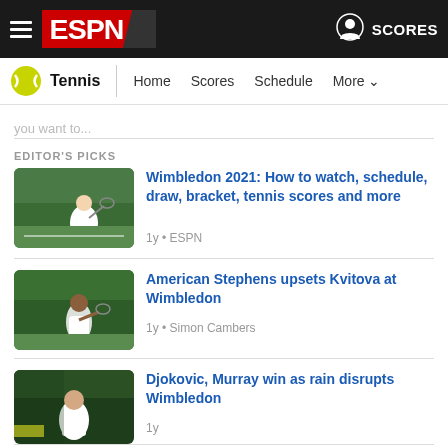ESPN Tennis - Home Scores Schedule More
you want to...
EDITOR'S PICKS
[Figure (photo): Tennis player on grass court at Wimbledon, bending low to hit a shot]
Wimbledon 2021: How to watch, schedule, draw, bracket, tennis scores and more
1y • ESPN
[Figure (photo): Female tennis player at Wimbledon, American Stephens]
American Stephens upsets Kvitova at Wimbledon
1y • Simon Cambers
[Figure (photo): Male tennis player Djokovic at Wimbledon]
Djokovic, Murray win as rain disrupts Wimbledon
1y